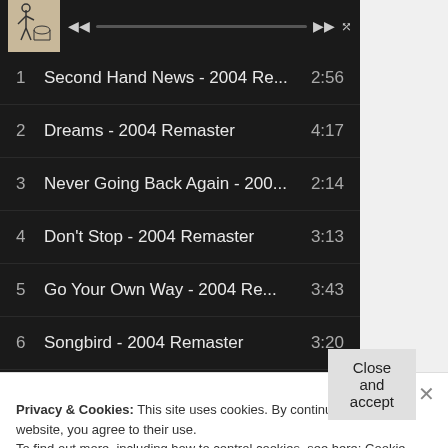[Figure (screenshot): Music player album thumbnail showing a sketch illustration on beige background]
1  Second Hand News - 2004 Re...  2:56
2  Dreams - 2004 Remaster  4:17
3  Never Going Back Again - 200...  2:14
4  Don't Stop - 2004 Remaster  3:13
5  Go Your Own Way - 2004 Re...  3:43
6  Songbird - 2004 Remaster  3:20
7  The Chain - 2004 Remaster  4:30
8  You Make Loving Fun - 2004 ...  3:33
Privacy & Cookies: This site uses cookies. By continuing to use this website, you agree to their use.
To find out more, including how to control cookies, see here: Cookie Policy
Close and accept